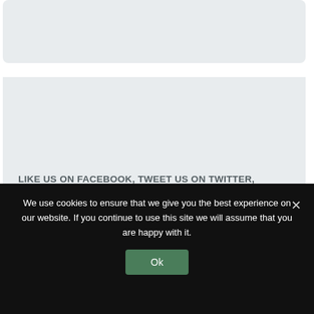[Figure (other): Light grey rounded card/box at top of page, no visible text content]
LIKE US ON FACEBOOK, TWEET US ON TWITTER, FOLLOW US ON LINKEDIN!
We use cookies to ensure that we give you the best experience on our website. If you continue to use this site we will assume that you are happy with it.
Ok